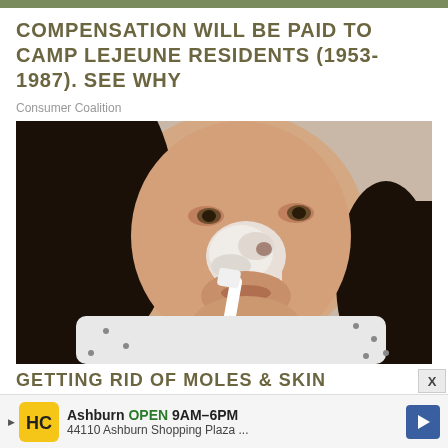COMPENSATION WILL BE PAID TO CAMP LEJEUNE RESIDENTS (1953-1987). SEE WHY
Consumer Coalition
[Figure (photo): Woman applying white cream/paste to her nose and lower face using a toothbrush with a green handle, wearing a white dotted blouse, looking slightly upward]
GETTING RID OF MOLES & SKIN
Ashburn OPEN 9AM–6PM  44110 Ashburn Shopping Plaza ...